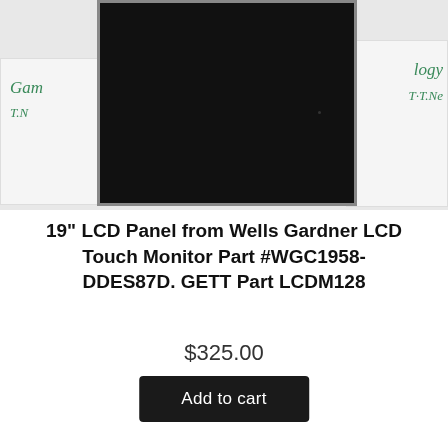[Figure (photo): A 19-inch LCD panel from Wells Gardner LCD Touch Monitor, shown face-down on a white background. Green text labels visible on left ('Gam...logy') and right ('T-T.Ne') sides.]
19" LCD Panel from Wells Gardner LCD Touch Monitor Part #WGC1958-DDES87D. GETT Part LCDM128
$325.00
Add to cart